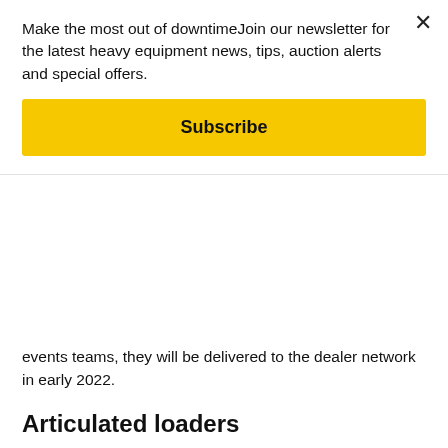Make the most out of downtimeJoin our newsletter for the latest heavy equipment news, tips, auction alerts and special offers.
Subscribe
events teams, they will be delivered to the dealer network in early 2022.
Articulated loaders
Manitou Group is also revamping and extending its range of articulated loaders. Available with Tier 4 Final engines, the new machines feature a new design, accompanied by numerous options to best meet the needs of its users. The innovations include a reduced width for moving around rough-terrain sites more easily, an optimized hydrostatic transmission for enhanced comfort and an